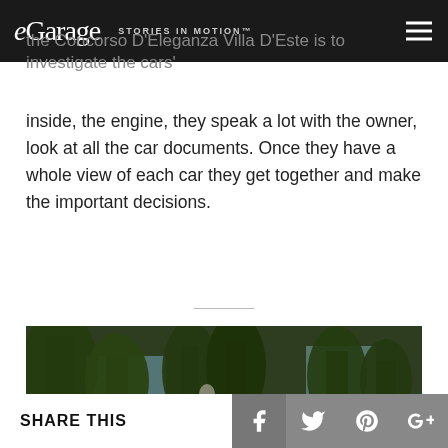eGarage STORIES IN MOTION™
the Concorso D'Eleganza Villa D'Este is to investigate the cars' outside inside, the engine, they speak a lot with the owner, look at all the car documents. Once they have a whole view of each car they get together and make the important decisions.
[Figure (photo): Outdoor scene with large trees and green grass, a stone statue visible between trees, a classic car partially visible at the bottom of the frame, and a small white building in the background.]
SHARE THIS